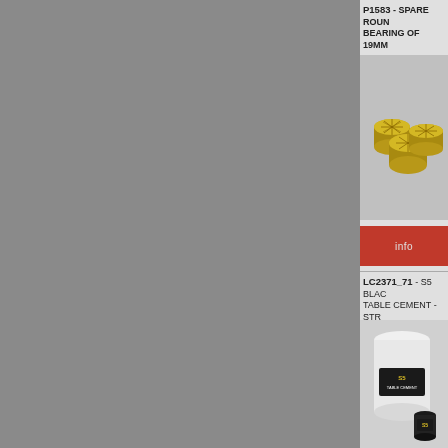P1583 - SPARE ROUND BEARING OF 19MM
[Figure (photo): Three gold-colored round cylindrical bearings with star/sunburst pattern on top face, photographed on a light gray background.]
info
LC2371_71 - S5 BLACK TABLE CEMENT - STR
[Figure (photo): White cylindrical container of S5 black table cement with a smaller black container/bottle beside it, on a white background.]